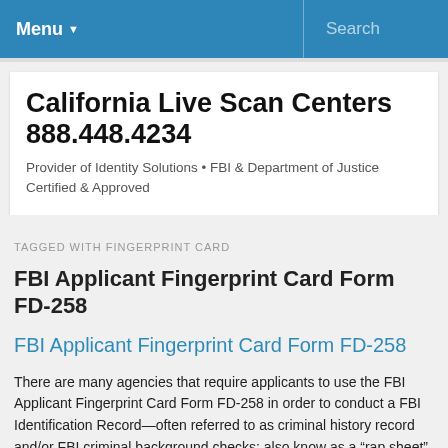Menu  Search
California Live Scan Centers 888.448.4234
Provider of Identity Solutions • FBI & Department of Justice Certified & Approved
TAGGED WITH FINGERPRINT CARD
FBI Applicant Fingerprint Card Form FD-258
FBI Applicant Fingerprint Card Form FD-258
There are many agencies that require applicants to use the FBI Applicant Fingerprint Card Form FD-258 in order to conduct a FBI Identification Record—often referred to as criminal history record and/or FBI criminal background checks; also know as a "rap sheet". Basically it is a dictionary of certain information taken from fingerprint...